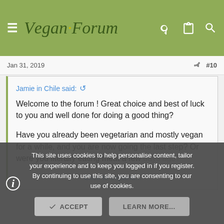Vegan Forum
Jan 31, 2019   #10
Jamie in Chile said:
Welcome to the forum ! Great choice and best of luck to you and well done for doing a good thing?

Have you already been vegetarian and mostly vegan for a while, and you are now going the last step? Or were you literally eating meat a few days ago?

Click to expand...
This site uses cookies to help personalise content, tailor your experience and to keep you logged in if you register.
By continuing to use this site, you are consenting to our use of cookies.
ACCEPT   LEARN MORE...